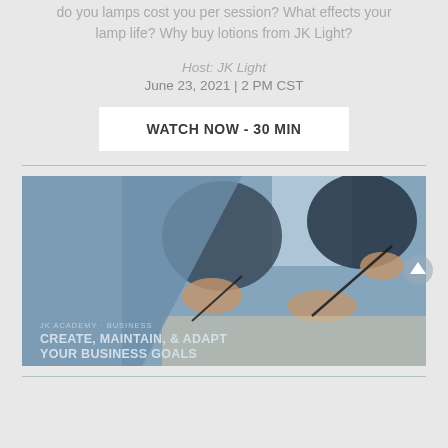do you lamps cost you per session? What effects your lamp life? Why buy lotions from JK Light?
Host: JK Light
June 23, 2021 | 2 PM CST
WATCH NOW - 30 MIN
[Figure (photo): Business meeting photo with people reviewing documents and holding pens, overlaid with diagonal blue panel. Card reads 'JK ACADEMY - BUSINESS' and 'CREATE, MAINTAIN, & ADAPT YOUR BUSINESS GOALS']